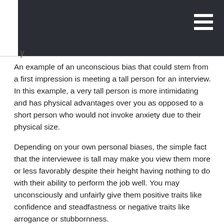An example of an unconscious bias that could stem from a first impression is meeting a tall person for an interview. In this example, a very tall person is more intimidating and has physical advantages over you as opposed to a short person who would not invoke anxiety due to their physical size.
Depending on your own personal biases, the simple fact that the interviewee is tall may make you view them more or less favorably despite their height having nothing to do with their ability to perform the job well. You may unconsciously and unfairly give them positive traits like confidence and steadfastness or negative traits like arrogance or stubbornness.
Interview Without First Impression Bias
Being an objective interviewer can be a challenge since people from all walks of life, ages, educational